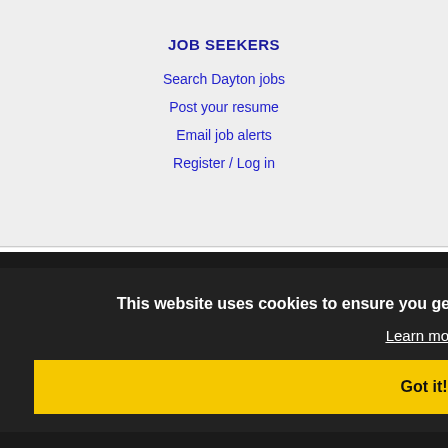JOB SEEKERS
Search Dayton jobs
Post your resume
Email job alerts
Register / Log in
EMPLOYERS
Post jobs
Search resumes
Email resume alerts
Advertise
This website uses cookies to ensure you get the best experience on our website.
Learn more
Got it!